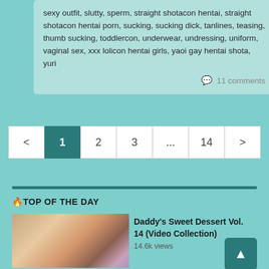sexy outfit, slutty, sperm, straight shotacon hentai, straight shotacon hentai porn, sucking, sucking dick, tanlines, teasing, thumb sucking, toddlercon, underwear, undressing, uniform, vaginal sex, xxx lolicon hentai girls, yaoi gay hentai shota, yuri
11 comments
< 1 2 3 ... 14 >
🔥TOP OF THE DAY
Daddy's Sweet Dessert Vol. 14 (Video Collection)
14.6k views